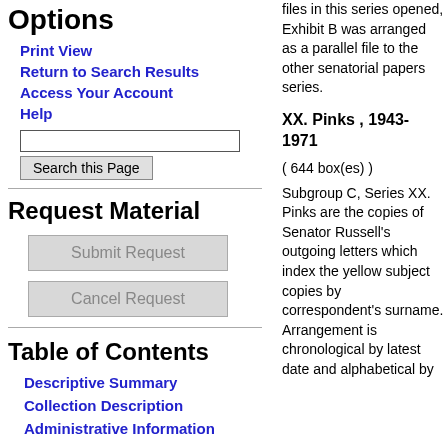Options
Print View
Return to Search Results
Access Your Account
Help
Request Material
Table of Contents
Descriptive Summary
Collection Description
Administrative Information
files in this series opened, Exhibit B was arranged as a parallel file to the other senatorial papers series.
XX. Pinks , 1943-1971
( 644 box(es) )
Subgroup C, Series XX. Pinks are the copies of Senator Russell's outgoing letters which index the yellow subject copies by correspondent's surname. Arrangement is chronological by latest date and alphabetical by